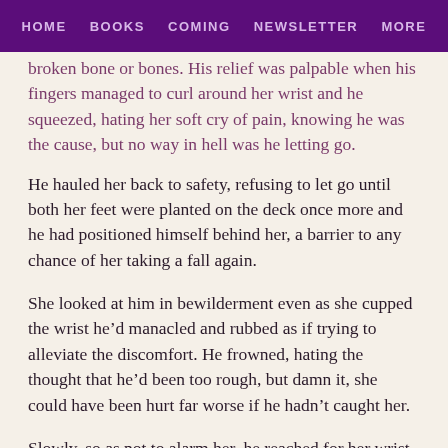HOME   BOOKS   COMING   NEWSLETTER   MORE
broken bone or bones. His relief was palpable when his fingers managed to curl around her wrist and he squeezed, hating her soft cry of pain, knowing he was the cause, but no way in hell was he letting go.
He hauled her back to safety, refusing to let go until both her feet were planted on the deck once more and he had positioned himself behind her, a barrier to any chance of her taking a fall again.
She looked at him in bewilderment even as she cupped the wrist he'd manacled and rubbed as if trying to alleviate the discomfort. He frowned, hating the thought that he'd been too rough, but damn it, she could have been hurt far worse if he hadn't caught her.
Slowly, so as not to alarm her, he reached for her wrist,